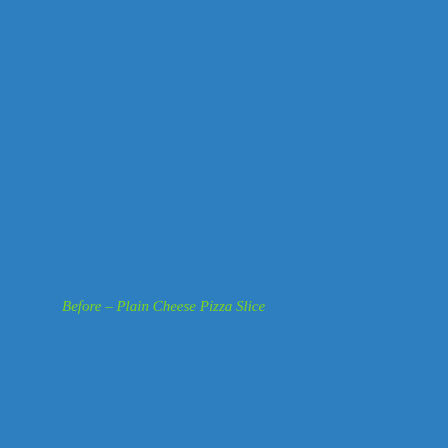Before – Plain Cheese Pizza Slice